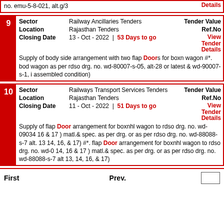no. emu-5-8-021, alt.g/3 Details
| Field | Value | Right |
| --- | --- | --- |
| Sector | Railway Ancillaries Tenders | Tender Value |
| Location | Rajasthan Tenders | Ref.No |
| Closing Date | 13 - Oct - 2022 | 53 Days to go | View Tender Details |
| Description | Supply of body side arrangement with two flap Doors for boxn wagon #*. bod wagon as per rdso drg. no. wd-80007-s-05, alt-28 or latest & wd-90007-s-1, i assembled condition) |  |
| Field | Value | Right |
| --- | --- | --- |
| Sector | Railways Transport Services Tenders | Tender Value |
| Location | Rajasthan Tenders | Ref.No |
| Closing Date | 11 - Oct - 2022 | 51 Days to go | View Tender Details |
| Description | Supply of flap Door arrangement for boxnhl wagon to rdso drg. no. wd-09034 16 & 17 ) matl.& spec. as per drg. or as per rdso drg. no. wd-88088-s-7 alt. 13 14, 16, & 17) #*. flap Door arrangement for boxnhl wagon to rdso drg. no. wd-0 14, 16 & 17 ) matl.& spec. as per drg. or as per rdso drg. no. wd-88088-s-7 alt 13, 14, 16, & 17) |  |
First    Prev.